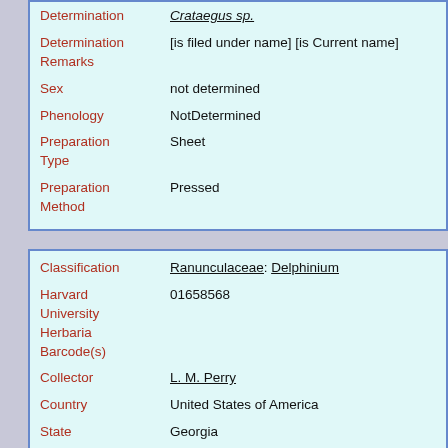| Field | Value |
| --- | --- |
| Determination | Crataegus sp. |
| Determination Remarks | [is filed under name] [is Current name] |
| Sex | not determined |
| Phenology | NotDetermined |
| Preparation Type | Sheet |
| Preparation Method | Pressed |
| Field | Value |
| --- | --- |
| Classification | Ranunculaceae: Delphinium |
| Harvard University Herbaria Barcode(s) | 01658568 |
| Collector | L. M. Perry |
| Country | United States of America |
| State | Georgia |
| Geography | North America: North America (CA, US, MX) (Region): United States of America: Georgia: Clarke County: Athens |